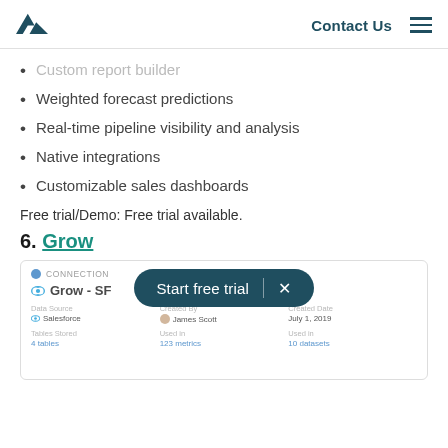Contact Us
Custom report builder
Weighted forecast predictions
Real-time pipeline visibility and analysis
Native integrations
Customizable sales dashboards
Free trial/Demo: Free trial available.
6. Grow
[Figure (screenshot): Screenshot of a Grow - SF connection panel showing Data Source (Salesforce), Created By (James Scott), Created Date (July 1, 2019), Tables Stored (4 tables), Used in (123 metrics), Used in (10 datasets). A dark teal 'Start free trial | X' modal button overlays the top portion.]